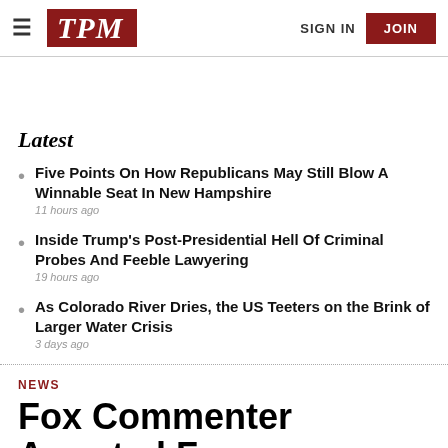TPM | SIGN IN | JOIN
Latest
Five Points On How Republicans May Still Blow A Winnable Seat In New Hampshire
11 hours ago
Inside Trump's Post-Presidential Hell Of Criminal Probes And Feeble Lawyering
19 hours ago
As Colorado River Dries, the US Teeters on the Brink of Larger Water Crisis
3 days ago
NEWS
Fox Commenter Arrested For